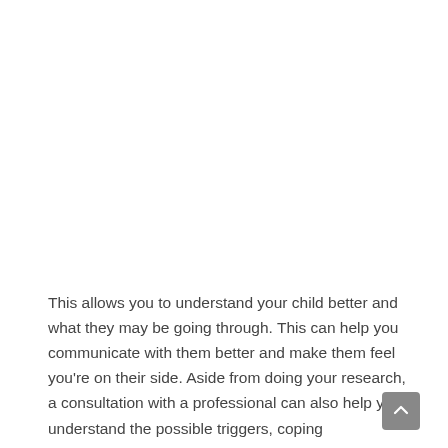This allows you to understand your child better and what they may be going through. This can help you communicate with them better and make them feel you're on their side. Aside from doing your research, a consultation with a professional can also help you understand the possible triggers, coping mechanisms, and the best ways to approach children with mental health problems.